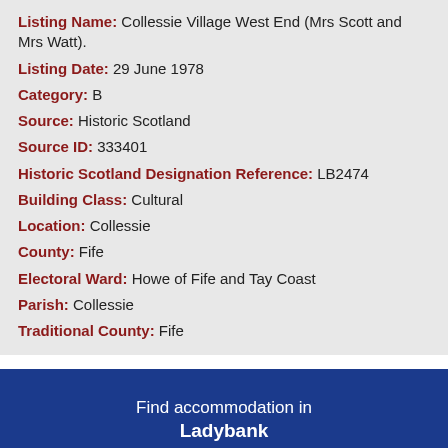Listing Name: Collessie Village West End (Mrs Scott and Mrs Watt).
Listing Date: 29 June 1978
Category: B
Source: Historic Scotland
Source ID: 333401
Historic Scotland Designation Reference: LB2474
Building Class: Cultural
Location: Collessie
County: Fife
Electoral Ward: Howe of Fife and Tay Coast
Parish: Collessie
Traditional County: Fife
[Figure (logo): Booking.com logo in white and light blue on dark blue background, with text 'Find accommodation in Ladybank' above]